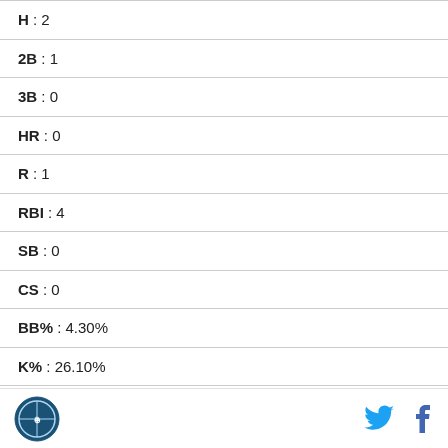| Stat | Value |
| --- | --- |
| H | 2 |
| 2B | 1 |
| 3B | 0 |
| HR | 0 |
| R | 1 |
| RBI | 4 |
| SB | 0 |
| CS | 0 |
| BB% | 4.30% |
| K% | 26.10% |
| ISO | 0.045 |
Logo | Twitter | Facebook